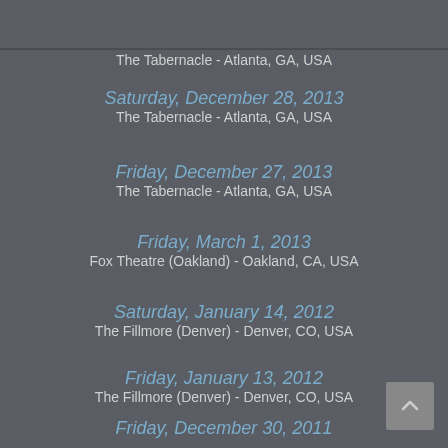The Tabernacle - Atlanta, GA, USA
Saturday, December 28, 2013
The Tabernacle - Atlanta, GA, USA
Friday, December 27, 2013
The Tabernacle - Atlanta, GA, USA
Friday, March 1, 2013
Fox Theatre (Oakland) - Oakland, CA, USA
Saturday, January 14, 2012
The Fillmore (Denver) - Denver, CO, USA
Friday, January 13, 2012
The Fillmore (Denver) - Denver, CO, USA
Friday, December 30, 2011
The Tabernacle - Atlanta, GA, USA